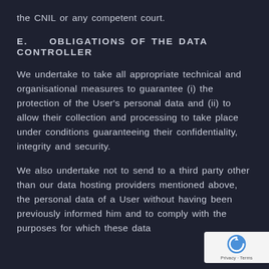the CNIL or any competent court.
E.    OBLIGATIONS OF THE DATA CONTROLLER
We undertake to take all appropriate technical and organisational measures to guarantee (i) the protection of the User's personal data and (ii) to allow their collection and processing to take place under conditions guaranteeing their confidentiality, integrity and security.
We also undertake not to send to a third party other than our data hosting providers mentioned above, the personal data of a User without having been previously informed him and to comply with the purposes for which these data